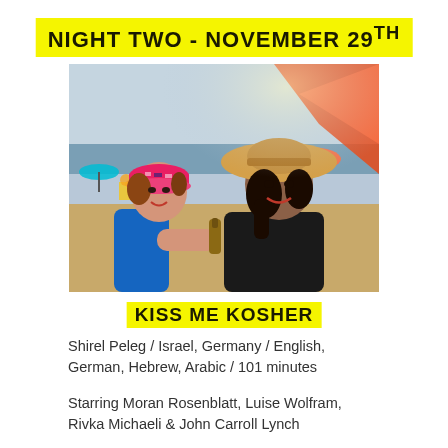NIGHT TWO - NOVEMBER 29th
[Figure (photo): Two women smiling on a beach. One wearing a colorful cap and blue swimsuit holding a beer bottle, the other wearing a wide-brimmed straw hat and dark jacket, both laughing.]
KISS ME KOSHER
Shirel Peleg / Israel, Germany / English, German, Hebrew, Arabic / 101 minutes
Starring Moran Rosenblatt, Luise Wolfram, Rivka Michaeli & John Carroll Lynch